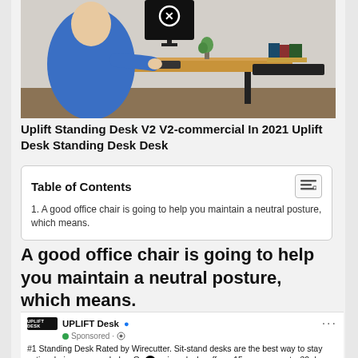[Figure (photo): Person in blue sweater using a standing desk with a monitor, wooden desktop, and books in the background. A close button (X in circle) overlay appears on the monitor.]
Uplift Standing Desk V2 V2-commercial In 2021 Uplift Desk Standing Desk Desk
Table of Contents
1. A good office chair is going to help you maintain a neutral posture, which means.
A good office chair is going to help you maintain a neutral posture, which means.
[Figure (screenshot): UPLIFT Desk sponsored Facebook ad. Text reads: #1 Standing Desk Rated by Wirecutter. Sit-stand desks are the best way to stay active during your work day. Our premium desks offer a 15 year warranty, 30 day risk-free returns, and free shipping. Order yours today.]